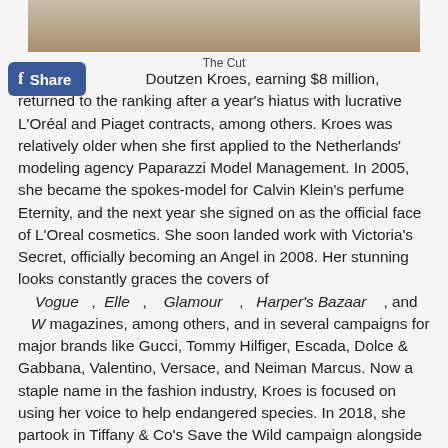[Figure (photo): Partial photo of Doutzen Kroes, cropped at top of page]
The Cut
Doutzen Kroes, earning $8 million, returned to the ranking after a year's hiatus with lucrative L'Oréal and Piaget contracts, among others. Kroes was relatively older when she first applied to the Netherlands' modeling agency Paparazzi Model Management. In 2005, she became the spokes-model for Calvin Klein's perfume Eternity, and the next year she signed on as the official face of L'Oreal cosmetics. She soon landed work with Victoria's Secret, officially becoming an Angel in 2008. Her stunning looks constantly graces the covers of Vogue, Elle, Glamour, Harper's Bazaar, and W magazines, among others, and in several campaigns for major brands like Gucci, Tommy Hilfiger, Escada, Dolce & Gabbana, Valentino, Versace, and Neiman Marcus. Now a staple name in the fashion industry, Kroes is focused on using her voice to help endangered species. In 2018, she partook in Tiffany & Co's Save the Wild campaign alongside supermodel Naomi Campbell.